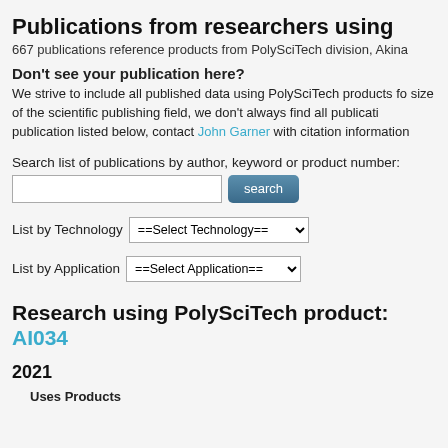Publications from researchers using
667 publications reference products from PolySciTech division, Akina
Don't see your publication here? We strive to include all published data using PolySciTech products for size of the scientific publishing field, we don't always find all publications. contact John Garner with citation information
Search list of publications by author, keyword or product number:
List by Technology ==Select Technology==
List by Application ==Select Application==
Research using PolySciTech product: AI034
2021
Uses Products